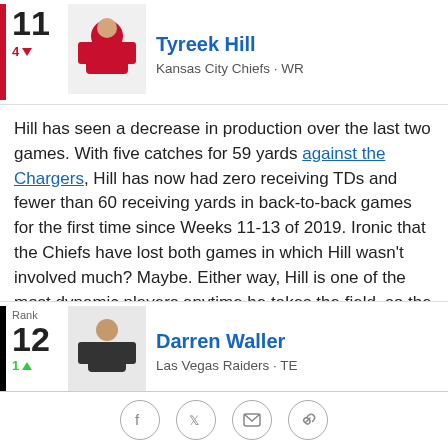[Figure (photo): Tyreek Hill #11, Kansas City Chiefs WR, rank 11, down 4]
Hill has seen a decrease in production over the last two games. With five catches for 59 yards against the Chargers, Hill has now had zero receiving TDs and fewer than 60 receiving yards in back-to-back games for the first time since Weeks 11-13 of 2019. Ironic that the Chiefs have lost both games in which Hill wasn't involved much? Maybe. Either way, Hill is one of the most dynamic players anytime he takes the field, so the Chiefs must find a way to get him the ball.
[Figure (photo): Darren Waller, Las Vegas Raiders TE, rank 12, up 1]